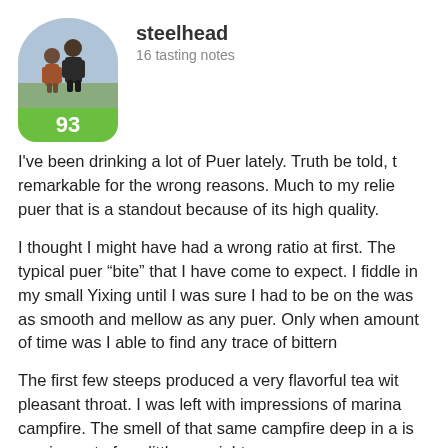[Figure (photo): Circular avatar photo of user steelhead showing two people, with a green score badge showing 93 below]
steelhead
16 tasting notes
I've been drinking a lot of Puer lately. Truth be told, t remarkable for the wrong reasons. Much to my relie puer that is a standout because of its high quality.
I thought I might have had a wrong ratio at first. The typical puer “bite” that I have come to expect. I fiddle in my small Yixing until I was sure I had to be on the was as smooth and mellow as any puer. Only when amount of time was I able to find any trace of bittern
The first few steeps produced a very flavorful tea wit pleasant throat. I was left with impressions of marina campfire. The smell of that same campfire deep in a is coming out of my little cup right now.
I've been drinking this pot for more than 4 hrs now. T